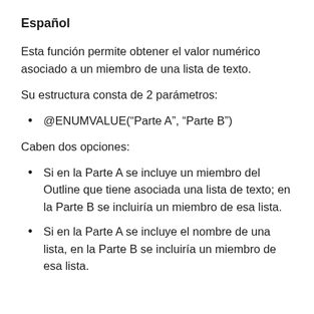Español
Esta función permite obtener el valor numérico asociado a un miembro de una lista de texto.
Su estructura consta de 2 parámetros:
@ENUMVALUE(“Parte A”, “Parte B”)
Caben dos opciones:
Si en la Parte A se incluye un miembro del Outline que tiene asociada una lista de texto; en la Parte B se incluiría un miembro de esa lista.
Si en la Parte A se incluye el nombre de una lista, en la Parte B se incluiría un miembro de esa lista.